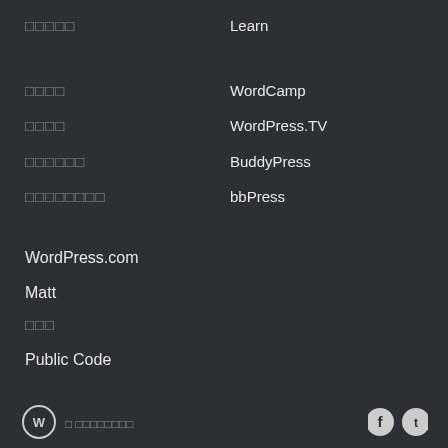□□□□□
Learn
□□□□
WordCamp
□□□□
WordPress.TV
□□□□□□
BuddyPress
□□□□□□□□
bbPress
WordPress.com
Matt
□□□
Public Code
□ □ ...